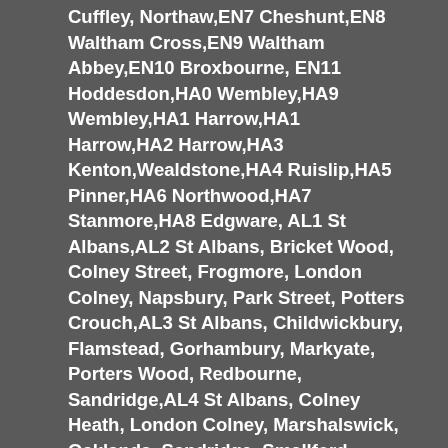Cuffley, Northaw,EN7 Cheshunt,EN8 Waltham Cross,EN9 Waltham Abbey,EN10 Broxbourne, EN11 Hoddesdon,HA0 Wembley,HA9 Wembley,HA1 Harrow,HA1 Harrow,HA2 Harrow,HA3 Kenton,Wealdstone,HA4 Ruislip,HA5 Pinner,HA6 Northwood,HA7 Stanmore,HA8 Edgware, AL1 St Albans,AL2 St Albans, Bricket Wood, Colney Street, Frogmore, London Colney, Napsbury, Park Street, Potters Crouch,AL3 St Albans, Childwickbury, Flamstead, Gorhambury, Markyate, Porters Wood, Redbourne, Sandridge,AL4 St Albans, Colney Heath, London Colney, Marshalswick, Oaklands, Sandridge, Smallford, Tyttenhanger, Wheathampstead,AL5 Harpenden,AL6 Welwyn, Ayot St Peter, Ayot St Lawrence, Digswell, Rabley Heath, Tewin,AL7 Welwyn Garden City,AL8 Welwyn Garden City, Lemsford,AL9 Hatfield, Brookmans Park, Essendon, North Mymms, AL10 Hatfield,WD3 Batchworth Heath, Chandlers Cross, Chenies, Chorleywood, Croxley Green, Heronsgate, Loudwater, Maple Cross, Mill End, Rickmansworth, Sarratt, West Hyde,WD4 Bucks Hill, Chipperfield, Hunton Bridge, Kings Langley,WD5 Bedmond, Abbots Langley,WD6 Borehamwood, Elstree, Well End,WD7 Shenley, Radlett,WD17 Watford, Cassiobury, Nascot Wood, WD18 West Watford,WD19 Oxhey, South Oxhey,WD23 Bushey, Bushey Heath,WD24 North Watford,WD25 Garston, Aldenham, Leavesden, Letchmore Heath,UB1 Southall,UB2 Norwood Green,UB3 Hayes,UB4 Yeading,UB5 Northolt,UB6 Greenford,UB7 West Drayton,UB8 Uxbridge,UB9